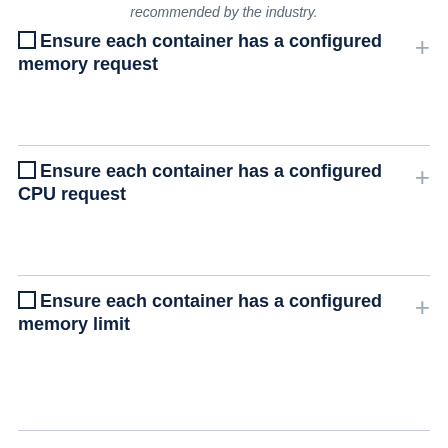recommended by the industry.
Ensure each container has a configured memory request
Ensure each container has a configured CPU request
Ensure each container has a configured memory limit